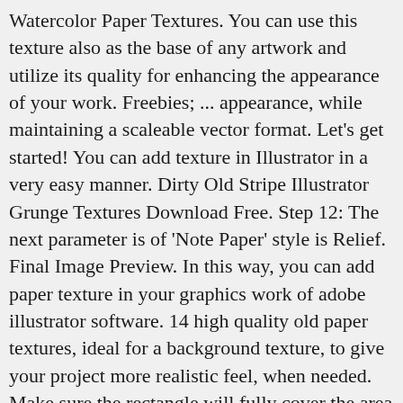Watercolor Paper Textures. You can use this texture also as the base of any artwork and utilize its quality for enhancing the appearance of your work. Freebies; ... appearance, while maintaining a scaleable vector format. Let's get started! You can add texture in Illustrator in a very easy manner. Dirty Old Stripe Illustrator Grunge Textures Download Free. Step 12: The next parameter is of 'Note Paper' style is Relief. Final Image Preview. In this way, you can add paper texture in your graphics work of adobe illustrator software. 14 high quality old paper textures, ideal for a background texture, to give your project more realistic feel, when needed. Make sure the rectangle will fully cover the area of the document. The texture I'm going to use is taken from his 20 subtle and simple grunge textures post. Here in this article, we will understand 'What is Paper Texture Illustrator?' and learn 'How to apply Paper Texture in illustrator?' with a very